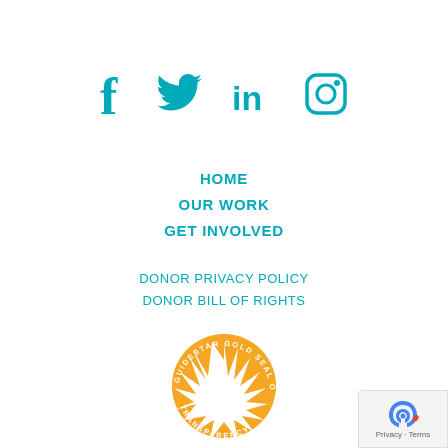[Figure (infographic): Four teal social media icons: Facebook (f), Twitter (bird), LinkedIn (in), Instagram (camera outline)]
HOME
OUR WORK
GET INVOLVED
DONOR PRIVACY POLICY
DONOR BILL OF RIGHTS
[Figure (logo): GuideStar Gold Seal of Transparency 2020 - circular badge with star burst in gold/orange and white, text around rim reading GUIDESTAR GOLD SEAL OF TRANSPARENCY, year 2020 below]
[Figure (other): Privacy - Terms reCAPTCHA badge in bottom right corner]